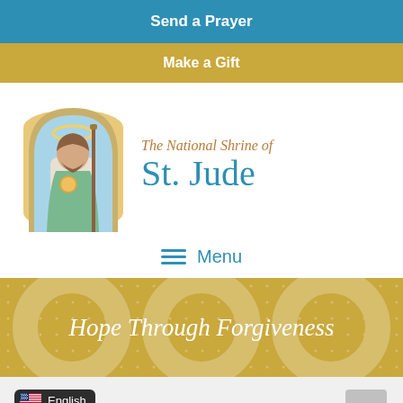Send a Prayer
Make a Gift
[Figure (illustration): Painting of St. Jude holding a staff, standing in an arched frame with golden halo]
The National Shrine of St. Jude
Menu
Hope Through Forgiveness
As o... St. Jude, we send him our petitions and